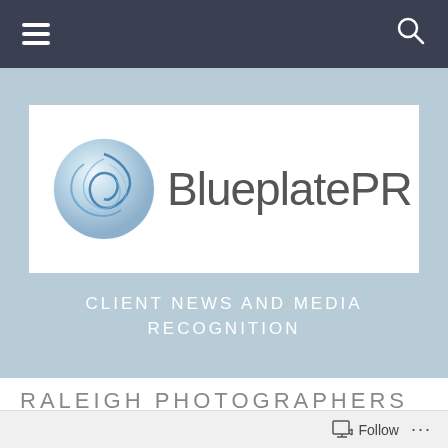[Figure (screenshot): Dark navigation bar with hamburger menu icon on left and search icon on right]
[Figure (logo): BlueplatePR logo: blue swirl globe icon on left, 'BlueplatePR' text in gray on white background]
CLIENT NEWS AND MEDIA RECOGNITION
RALEIGH PHOTOGRAPHERS